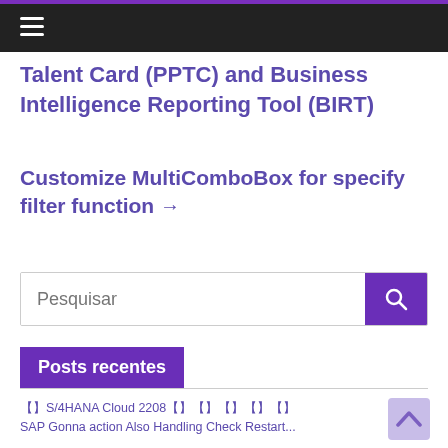☰
Talent Card (PPTC) and Business Intelligence Reporting Tool (BIRT)
Customize MultiComboBox for specify filter function →
Pesquisar
Posts recentes
【】S/4HANA Cloud 2208【】【】【】【】【】【】【】【】
SAP Gonna action Also Handling Check Restart...